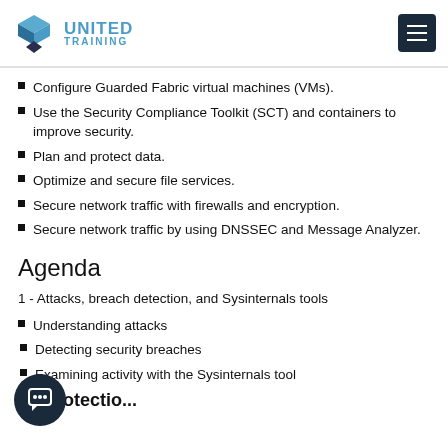UNITED TRAINING
Configure Guarded Fabric virtual machines (VMs).
Use the Security Compliance Toolkit (SCT) and containers to improve security.
Plan and protect data.
Optimize and secure file services.
Secure network traffic with firewalls and encryption.
Secure network traffic by using DNSSEC and Message Analyzer.
Agenda
1 - Attacks, breach detection, and Sysinternals tools
Understanding attacks
Detecting security breaches
Examining activity with the Sysinternals tool
2 - Protection, detection, and <cut off>